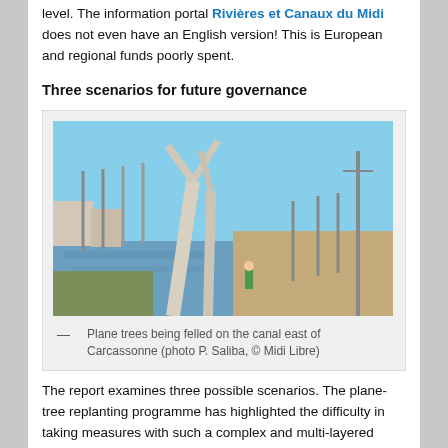level. The information portal Rivières et Canaux du Midi does not even have an English version! This is European and regional funds poorly spent.
Three scenarios for future governance
[Figure (photo): Plane trees being felled on the Canal du Midi east of Carcassonne, showing bare truncated trunks, a canal with reflections, workers, and a utility pole.]
— Plane trees being felled on the canal east of Carcassonne (photo P. Saliba, © Midi Libre)
The report examines three possible scenarios. The plane-tree replanting programme has highlighted the difficulty in taking measures with such a complex and multi-layered network of stakeholders, and a common structure is now